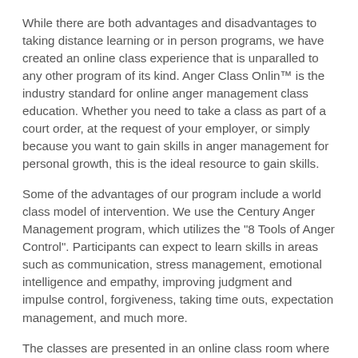While there are both advantages and disadvantages to taking distance learning or in person programs, we have created an online class experience that is unparalled to any other program of its kind. Anger Class Onlin™ is the industry standard for online anger management class education. Whether you need to take a class as part of a court order, at the request of your employer, or simply because you want to gain skills in anger management for personal growth, this is the ideal resource to gain skills.
Some of the advantages of our program include a world class model of intervention. We use the Century Anger Management program, which utilizes the "8 Tools of Anger Control". Participants can expect to learn skills in areas such as communication, stress management, emotional intelligence and empathy, improving judgment and impulse control, forgiveness, taking time outs, expectation management, and much more.
The classes are presented in an online class room where students read content, watch videos, interact with our office and answer questions. Our courses are available 24 hours a day, 7 days a week, and can be completed in All...